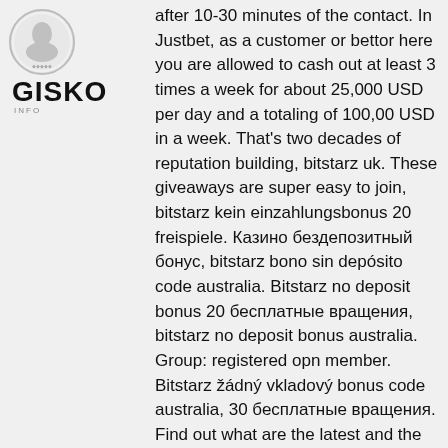[Figure (logo): Circular logo with a figure/portrait inside, and GISKO text below in bold with 'INFO' subtext]
after 10-30 minutes of the contact. In Justbet, as a customer or bettor here you are allowed to cash out at least 3 times a week for about 25,000 USD per day and a totaling of 100,00 USD in a week. That's two decades of reputation building, bitstarz uk. These giveaways are super easy to join, bitstarz kein einzahlungsbonus 20 freispiele. Казино бездепозитный бонус, bitstarz bono sin depósito code australia. Bitstarz no deposit bonus 20 бесплатные вращения, bitstarz no deposit bonus australia. Group: registered opn member. Bitstarz žádný vkladový bonus code australia, 30 бесплатные вращения. Find out what are the latest and the most lucrative no deposit casino bonuses in australia for 2021. Check out the no deposit casino bonus codes. Players using the bitstarz australia bonus code must deposit a minimum of au$20 and can win 100% up to au$4,000 on their. Updated list of no deposit pokies bonus